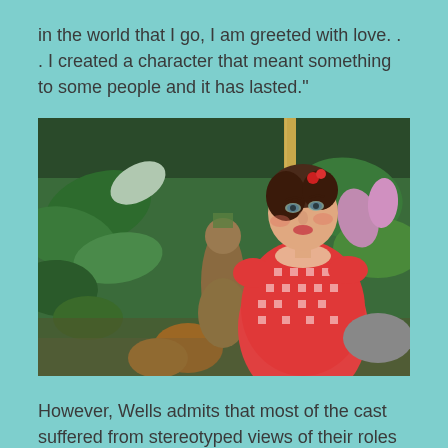in the world that I go, I am greeted with love. . . I created a character that meant something to some people and it has lasted."
[Figure (photo): A woman in a red and white gingham dress holds a bamboo pole and looks to the side, standing in a tropical jungle setting with lush foliage and flowers in the background. A figure in tribal costume is visible behind her.]
However, Wells admits that most of the cast suffered from stereotyped views of their roles on the show. She worked hard to continue acting, performing in more than 66 theatrical productions, as well as countless